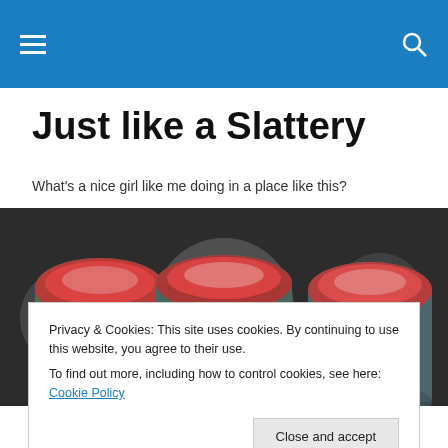Just like a Slattery — navigation header
Just like a Slattery
What's a nice girl like me doing in a place like this?
[Figure (photo): Blurred close-up photo of red-topped cans or containers on shelves, with bokeh lighting effect]
Privacy & Cookies: This site uses cookies. By continuing to use this website, you agree to their use.
To find out more, including how to control cookies, see here: Cookie Policy
I know it is because she told me so.